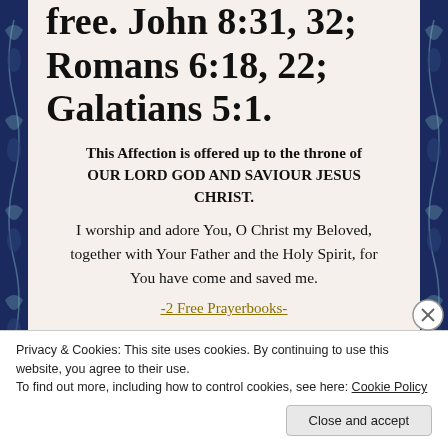free. John 8:31, 32; Romans 6:18, 22; Galatians 5:1.
This Affection is offered up to the throne of OUR LORD GOD AND SAVIOUR JESUS CHRIST.
I worship and adore You, O Christ my Beloved, together with Your Father and the Holy Spirit, for You have come and saved me.
-2 Free Prayerbooks-
Privacy & Cookies: This site uses cookies. By continuing to use this website, you agree to their use.
To find out more, including how to control cookies, see here: Cookie Policy
Close and accept